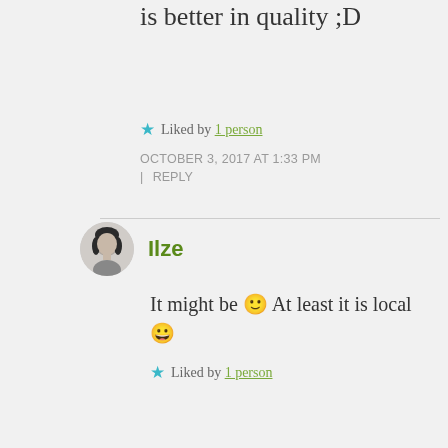is better in quality ;D
★ Liked by 1 person
OCTOBER 3, 2017 AT 1:33 PM | REPLY
Ilze
It might be 🙂 At least it is local 😀
★ Liked by 1 person